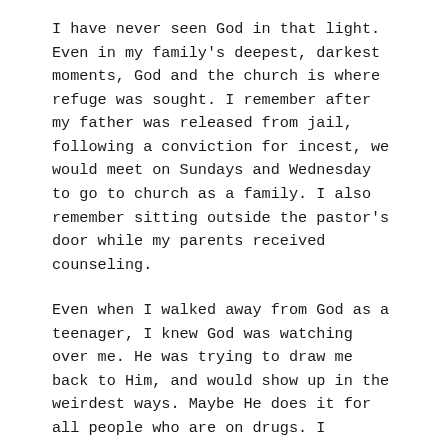I have never seen God in that light. Even in my family's deepest, darkest moments, God and the church is where refuge was sought. I remember after my father was released from jail, following a conviction for incest, we would meet on Sundays and Wednesday to go to church as a family. I also remember sitting outside the pastor's door while my parents received counseling.
Even when I walked away from God as a teenager, I knew God was watching over me. He was trying to draw me back to Him, and would show up in the weirdest ways. Maybe He does it for all people who are on drugs. I